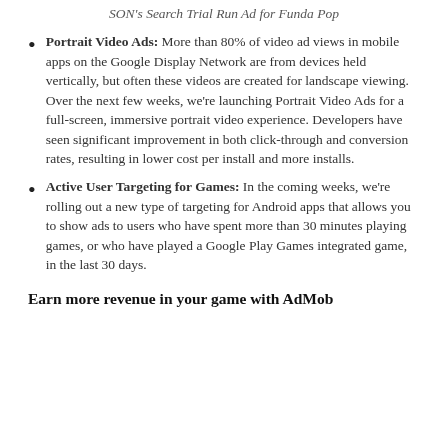SON's Search Trial Run Ad for Funda Pop
Portrait Video Ads: More than 80% of video ad views in mobile apps on the Google Display Network are from devices held vertically, but often these videos are created for landscape viewing. Over the next few weeks, we’re launching Portrait Video Ads for a full-screen, immersive portrait video experience. Developers have seen significant improvement in both click-through and conversion rates, resulting in lower cost per install and more installs.
Active User Targeting for Games: In the coming weeks, we’re rolling out a new type of targeting for Android apps that allows you to show ads to users who have spent more than 30 minutes playing games, or who have played a Google Play Games integrated game, in the last 30 days.
Earn more revenue in your game with AdMob